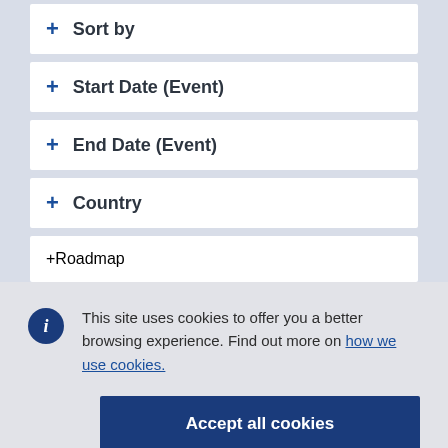+ Sort by
+ Start Date (Event)
+ End Date (Event)
+ Country
+ Roadmap
This site uses cookies to offer you a better browsing experience. Find out more on how we use cookies.
Accept all cookies
Accept only essential cookies